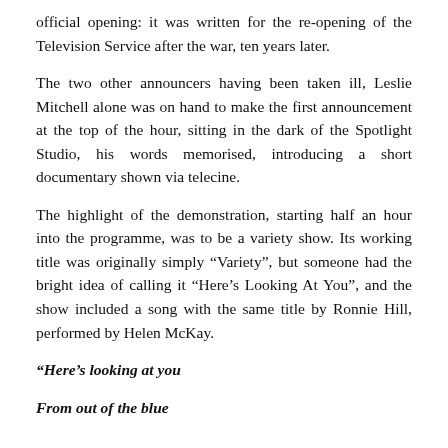official opening: it was written for the re-opening of the Television Service after the war, ten years later.
The two other announcers having been taken ill, Leslie Mitchell alone was on hand to make the first announcement at the top of the hour, sitting in the dark of the Spotlight Studio, his words memorised, introducing a short documentary shown via telecine.
The highlight of the demonstration, starting half an hour into the programme, was to be a variety show. Its working title was originally simply “Variety”, but someone had the bright idea of calling it “Here’s Looking At You”, and the show included a song with the same title by Ronnie Hill, performed by Helen McKay.
“Here’s looking at you
From out of the blue